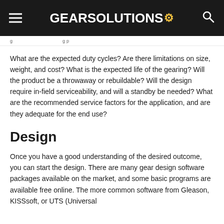GEARSolutions
What are the expected duty cycles? Are there limitations on size, weight, and cost? What is the expected life of the gearing? Will the product be a throwaway or rebuildable? Will the design require in-field serviceability, and will a standby be needed? What are the recommended service factors for the application, and are they adequate for the end use?
Design
Once you have a good understanding of the desired outcome, you can start the design. There are many gear design software packages available on the market, and some basic programs are available free online. The more common software from Gleason, KISSsoft, or UTS (Universal